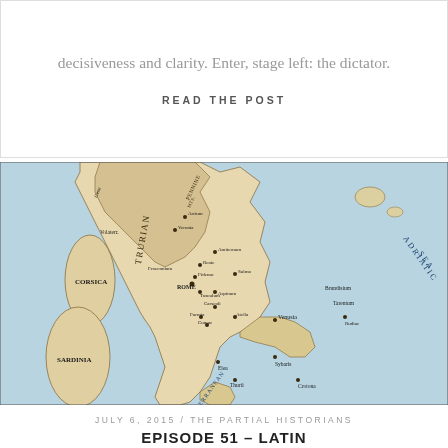decisiveness and clarity. Enter, stage left: the dictator.
READ THE POST
[Figure (map): Historical map of ancient Italy showing regions including Etruria (Trurian), Corsica, Sardinia, and the Adriatic Sea, with labeled cities such as Brundisium, Tarentum, Venusia, Elea, Thurii, Sybaris, Crotona, and many others.]
JULY 6, 2015 / THE PARTIAL HISTORIANS
EPISODE 51 – LATIN MACHINATIONS